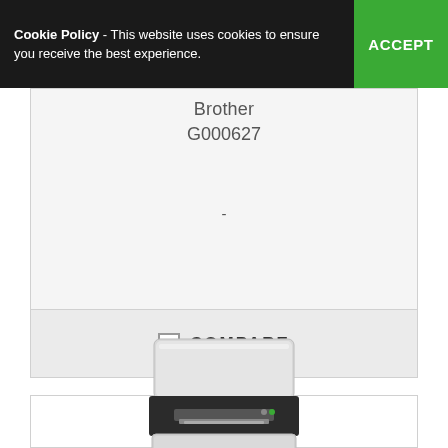Cookie Policy - This website uses cookies to ensure you receive the best experience. ACCEPT
Brother
G000627
-
COMPARE
[Figure (photo): Photo of a Brother laser multifunction printer (black and white/grey), front view, showing flatbed scanner lid on top and paper tray at bottom.]